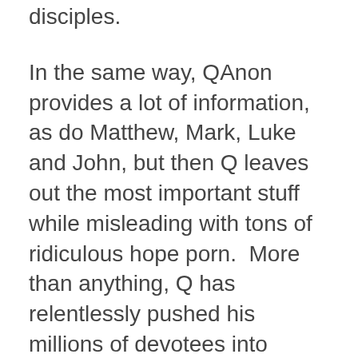disciples.
In the same way, QAnon provides a lot of information, as do Matthew, Mark, Luke and John, but then Q leaves out the most important stuff while misleading with tons of ridiculous hope porn.  More than anything, Q has relentlessly pushed his millions of devotees into falsely believing that “Israel can do no wrong” and “Zionism is good for the world”. See: QAnon: Zionist Disinformation & Psychological Operation—6D Chess Honeytrap (Videos)